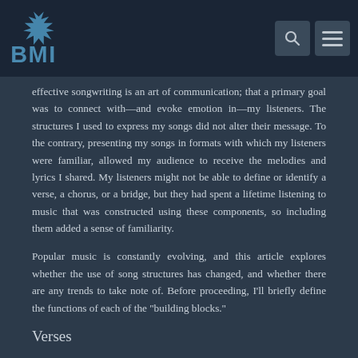BMI
effective songwriting is an art of communication; that a primary goal was to connect with—and evoke emotion in—my listeners. The structures I used to express my songs did not alter their message. To the contrary, presenting my songs in formats with which my listeners were familiar, allowed my audience to receive the melodies and lyrics I shared. My listeners might not be able to define or identify a verse, a chorus, or a bridge, but they had spent a lifetime listening to music that was constructed using these components, so including them added a sense of familiarity.
Popular music is constantly evolving, and this article explores whether the use of song structures has changed, and whether there are any trends to take note of. Before proceeding, I'll briefly define the functions of each of the "building blocks."
Verses
Verse lyrics tell the story, include action and details, and lead the